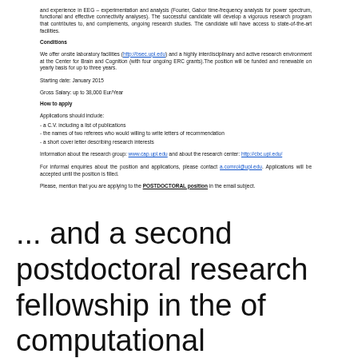and experience in EEG – experimentation and analysis (Fourier, Gabor time-frequency analysis for power spectrum, functional and effective connectivity analyses). The successful candidate will develop a vigorous research program that contributes to, and complements, ongoing research studies. The candidate will have access to state-of-the-art facilities.
Conditions
We offer onsite laboratory facilities (http://bsec.upl.edu) and a highly interdisciplinary and active research environment at the Center for Brain and Cognition (with four ongoing ERC grants).The position will be funded and renewable on yearly basis for up to three years.
Starting date: January 2015
Gross Salary: up to 38,000 Eur/Year
How to apply
Applications should include:
- a C.V. including a list of publications
- the names of two referees who would willing to write letters of recommendation
- a short cover letter describing research interests
Information about the research group: www.cap.upl.edu and about the research center: http://cbc.upl.edu/
For informal enquiries about the position and applications, please contact a.comrol@upl.edu.  Applications will be accepted until the position is filled.
Please, mention that you are applying to the POSTDOCTORAL position in the email subject.
... and a second postdoctoral research fellowship in the of computational neuroscience, my main interests are in the neuroscience. For example, ... FACULTY POSITION IN COMPUTATIONAL NEUROSCIENCE and support for